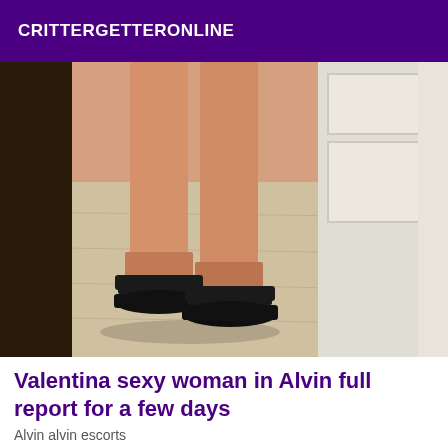CRITTERGETTERONLINE
[Figure (photo): Photo of a person's legs wearing black high heel sandals standing on a light wood floor, with a dark panel on the left and a white door on the right]
Valentina sexy woman in Alvin full report for a few days
Alvin alvin escorts